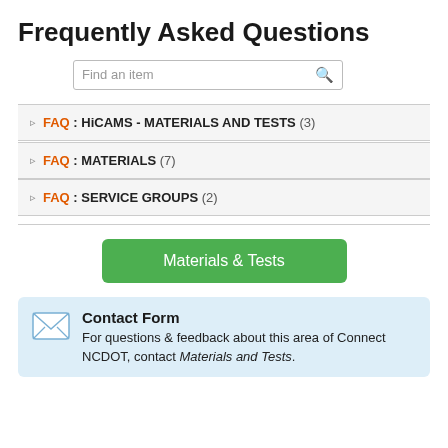Frequently Asked Questions
FAQ : HiCAMS - MATERIALS AND TESTS (3)
FAQ : MATERIALS (7)
FAQ : SERVICE GROUPS (2)
Materials & Tests
Contact Form
For questions & feedback about this area of Connect NCDOT, contact Materials and Tests.